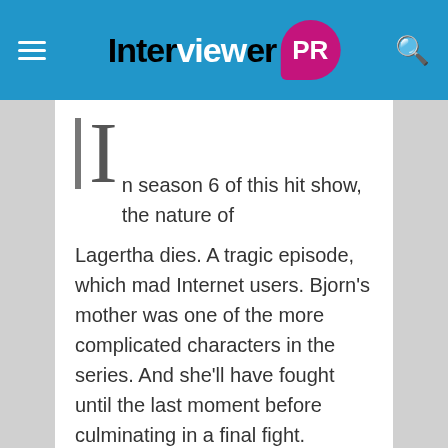Interviewer PR
In season 6 of this hit show, the nature of Lagertha dies. A tragic episode, which mad Internet users. Bjorn's mother was one of the more complicated characters in the series. And she'll have fought until the last moment before culminating in a final fight.